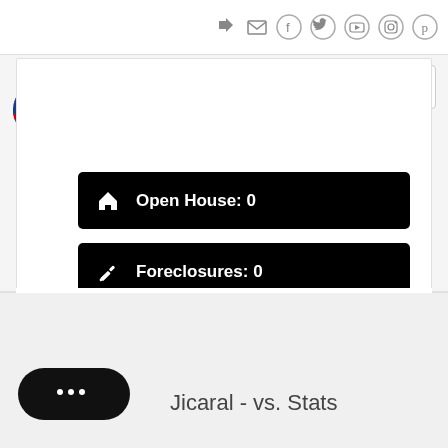[Figure (logo): 239 Real Homes Realty logo with shamrock and American flag]
Open House: 0
Foreclosures: 0
Short Sales: 0
Jicaral - vs. Stats